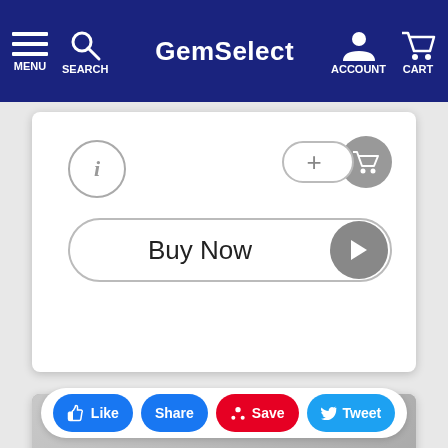MENU  SEARCH  GemSelect  ACCOUNT  CART
[Figure (screenshot): GemSelect e-commerce UI showing info button, add to cart button, and Buy Now button with play arrow]
[Figure (photo): Close-up photo of a brown/chocolate colored gemstone (cabochon) on a gray background]
[Figure (screenshot): Social sharing bar with Like, Share, Save (Pinterest), and Tweet buttons]